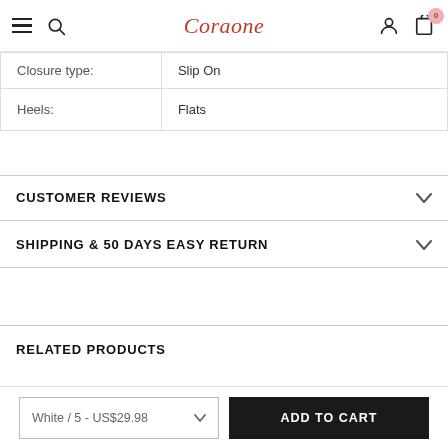Coraone
| Closure type: | Slip On |
| --- | --- |
| Heels: | Flats |
CUSTOMER REVIEWS
SHIPPING & 50 DAYS EASY RETURN
RELATED PRODUCTS
White / 5 - US$29.98
ADD TO CART